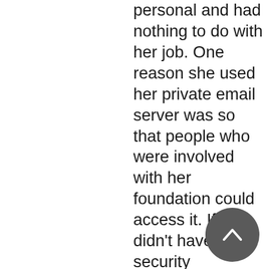personal and had nothing to do with her job. One reason she used her private email server was so that people who were involved with her foundation could access it. If they didn't have security clearances to read classified information, oh well. They did it anyway.

Every one of her emails were found on Anthony Weiner's laptop by the NYC FBI and the agents were appalled at the ones